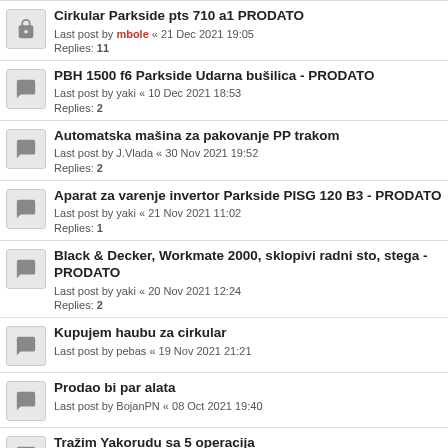Cirkular Parkside pts 710 a1 PRODATO
Last post by mbole « 21 Dec 2021 19:05
Replies: 11
PBH 1500 f6 Parkside Udarna bušilica - PRODATO
Last post by yaki « 10 Dec 2021 18:53
Replies: 2
Automatska mašina za pakovanje PP trakom
Last post by J.Vlada « 30 Nov 2021 19:52
Replies: 2
Aparat za varenje invertor Parkside PISG 120 B3 - PRODATO
Last post by yaki « 21 Nov 2021 11:02
Replies: 1
Black & Decker, Workmate 2000, sklopivi radni sto, stega - PRODATO
Last post by yaki « 20 Nov 2021 12:24
Replies: 2
Kupujem haubu za cirkular
Last post by pebas « 19 Nov 2021 21:21
Prodao bi par alata
Last post by BojanPN « 08 Oct 2021 19:40
Tražim Yakorudu sa 5 operacija
Last post by pebas « 11 Jun 2021 17:29
Replies: 31